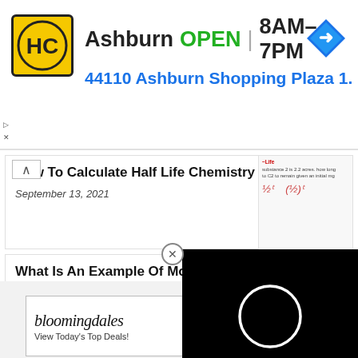[Figure (screenshot): Advertisement banner for HC (Ashburn store). Logo with HC initials on yellow background. Text: Ashburn OPEN | 8AM-7PM and 44110 Ashburn Shopping Plaza 1. Blue navigation arrow icon on right.]
How To Calculate Half Life Chemistry
September 13, 2021
What Is An Example Of Movement In Geography
September 11, 2021
[Figure (screenshot): Black video player overlay with white loading circle spinner]
[Figure (screenshot): Bloomingdale's advertisement: View Today's Top Deals! SHOP NOW >]